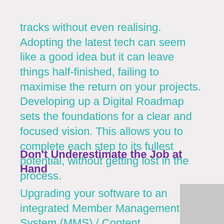tracks without even realising. Adopting the latest tech can seem like a good idea but it can leave things half-finished, failing to maximise the return on your projects. Developing up a Digital Roadmap sets the foundations for a clear and focused vision. This allows you to complete each step to its fullest potential, without getting lost in the process.
Don't Underestimate the Job at Hand
Upgrading your software to an integrated Member Management System (MMS) / Content Management System (CMS) sounds like a great idea